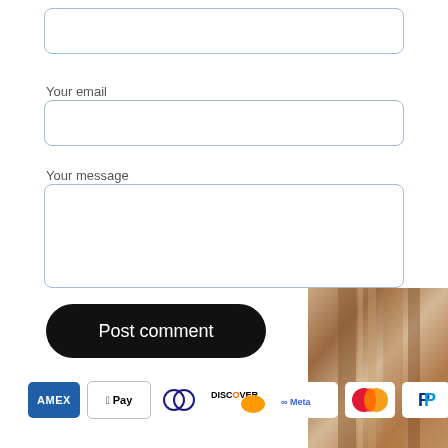[Figure (screenshot): Text input field (empty), rounded rectangle with blue border]
Your email
[Figure (screenshot): Email input field (empty), rounded rectangle with blue border]
Your message
[Figure (screenshot): Textarea field (empty), rounded rectangle with blue border]
[Figure (screenshot): Post comment button, black rounded pill shape]
[Figure (infographic): Row of payment method logos: AMEX, Apple Pay, Diners Club, Discover, Meta, Mastercard, PayPal, VTOP, Visa]
[Figure (photo): Partial photo of a wooden or bronze cylindrical object in bottom-right corner]